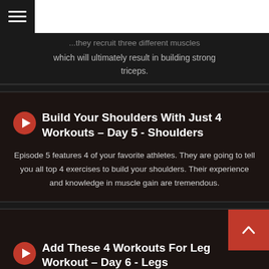which will ultimately result in building strong triceps.
Build Your Shoulders With Just 4 Workouts – Day 5 - Shoulders
Episode 5 features 4 of your favorite athletes. They are going to tell you all top 4 exercises to build your shoulders. Their experience and knowledge in muscle gain are tremendous.
Add These 4 Workouts For Leg Workout – Day 6 - Legs